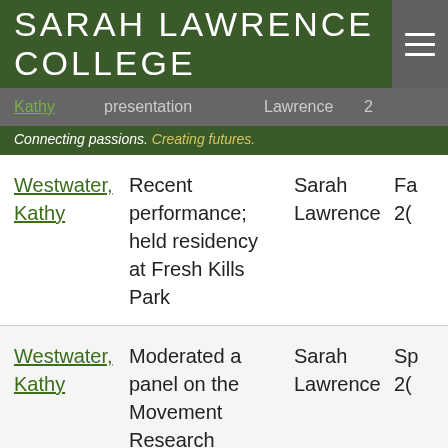SARAH LAWRENCE COLLEGE
Connecting passions. Creating futures.
| Name | Description | Institution | Date |
| --- | --- | --- | --- |
| Westwater, Kathy | Recent performance; held residency at Fresh Kills Park | Sarah Lawrence | Fa... |
| Westwater, Kathy | Moderated a panel on the Movement Research Studies Project | Sarah Lawrence | Sp... |